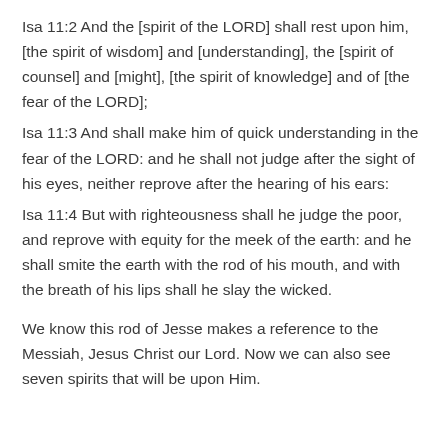Isa 11:2 And the [spirit of the LORD] shall rest upon him, [the spirit of wisdom] and [understanding], the [spirit of counsel] and [might], [the spirit of knowledge] and of [the fear of the LORD];
Isa 11:3 And shall make him of quick understanding in the fear of the LORD: and he shall not judge after the sight of his eyes, neither reprove after the hearing of his ears:
Isa 11:4 But with righteousness shall he judge the poor, and reprove with equity for the meek of the earth: and he shall smite the earth with the rod of his mouth, and with the breath of his lips shall he slay the wicked.
We know this rod of Jesse makes a reference to the Messiah, Jesus Christ our Lord. Now we can also see seven spirits that will be upon Him.